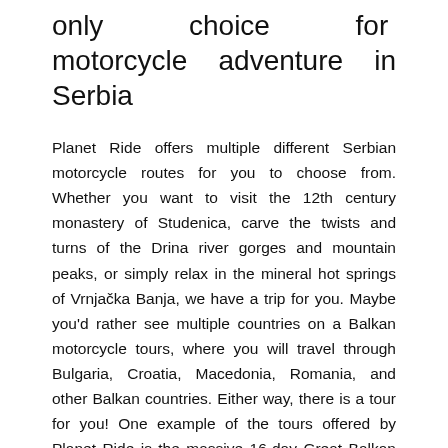only choice for motorcycle adventure in Serbia
Planet Ride offers multiple different Serbian motorcycle routes for you to choose from. Whether you want to visit the 12th century monastery of Studenica, carve the twists and turns of the Drina river gorges and mountain peaks, or simply relax in the mineral hot springs of Vrnjačka Banja, we have a trip for you. Maybe you'd rather see multiple countries on a Balkan motorcycle tours, where you will travel through Bulgaria, Croatia, Macedonia, Romania, and other Balkan countries. Either way, there is a tour for you! One example of the tours offered by Planet Ride is the massive 16-day Great Balkan Crossing which spans 8 different